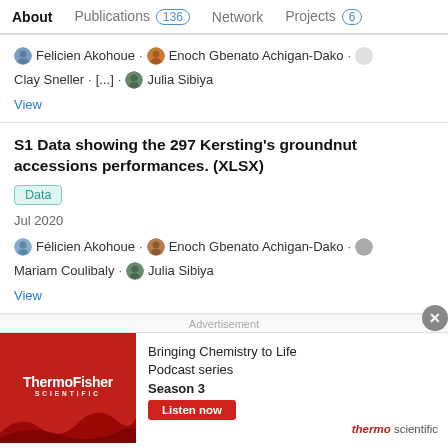About  Publications 136  Network  Projects 6
Felicien Akohoue · Enoch Gbenato Achigan-Dako · Clay Sneller · [...] · Julia Sibiya
View
S1 Data showing the 297 Kersting's groundnut accessions performances. (XLSX)
Data
Jul 2020
Félicien Akohoue · Enoch Gbenato Achigan-Dako · Mariam Coulibaly · Julia Sibiya
View
Advertisement
[Figure (illustration): ThermoFisher Scientific advertisement banner: red background with logo on left, text 'Bringing Chemistry to Life Podcast series Season 3' with red 'Listen now' button and 'thermo scientific' logo on right]